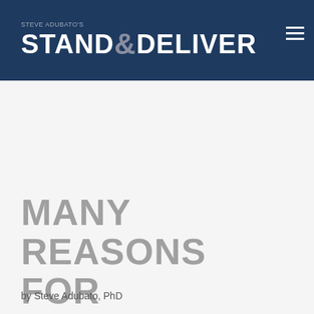STEVE ADUBATO'S STAND & DELIVER
MANY REASONS FOR EMPLOYEES UNDERPERFORMING
by Steve Adubato, PhD